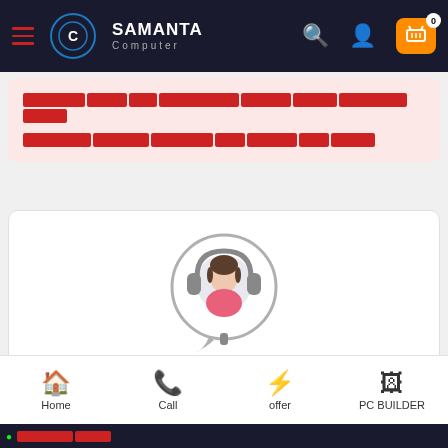Samanta Computer - navigation header with hamburger, logo, search, user, and cart icons
[Bengali text - redacted error message content]
[Figure (illustration): Customer support / helpdesk icon: a person wearing headphones inside a speech bubble circle, colored in pink and gray tones]
[Bengali text] আমাদের সাথে যোগাযোগ করুন:
Live || 01723-570189(10AM – 8PM)
Home | Call | offer | PC BUILDER